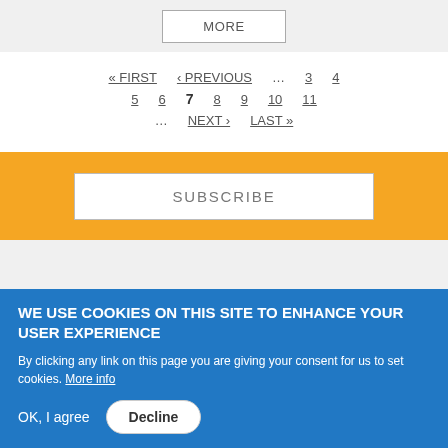MORE
« FIRST  < PREVIOUS  ...  3  4  5  6  7  8  9  10  11  ...  NEXT ›  LAST »
SUBSCRIBE
WE USE COOKIES ON THIS SITE TO ENHANCE YOUR USER EXPERIENCE
By clicking any link on this page you are giving your consent for us to set cookies. More info
OK, I agree  Decline